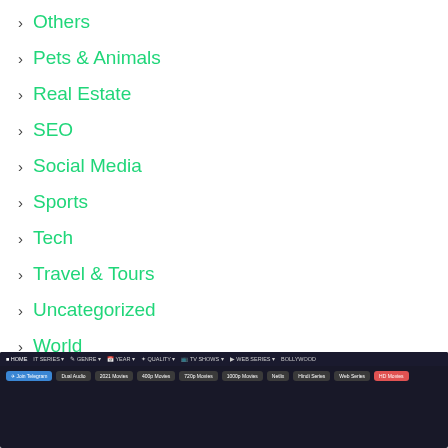Others
Pets & Animals
Real Estate
SEO
Social Media
Sports
Tech
Travel & Tours
Uncategorized
World
Recently Added
[Figure (screenshot): Screenshot of a movie/TV streaming website with a dark navigation bar and colorful tag buttons including: Join Telegram, Dual Audio, 2021 Movies, 400p Movies, 720p Movies, 1000p Movies, Netlix, Hindi Series, Web Series, HD Movies]